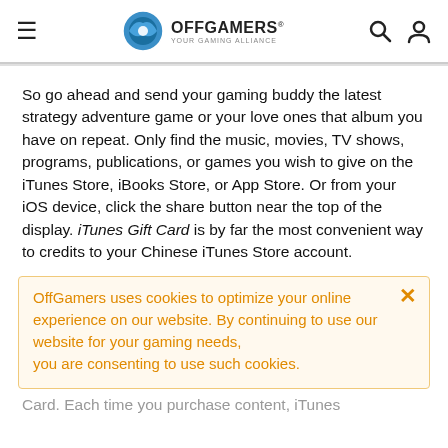OFFGAMERS
So go ahead and send your gaming buddy the latest strategy adventure game or your love ones that album you have on repeat. Only find the music, movies, TV shows, programs, publications, or games you wish to give on the iTunes Store, iBooks Store, or App Store. Or from your iOS device, click the share button near the top of the display. iTunes Gift Card is by far the most convenient way to credits to your Chinese iTunes Store account.
OffGamers uses cookies to optimize your online experience on our website. By continuing to use our website for your gaming needs, you are consenting to use such cookies.
Card. Each time you purchase content, iTunes